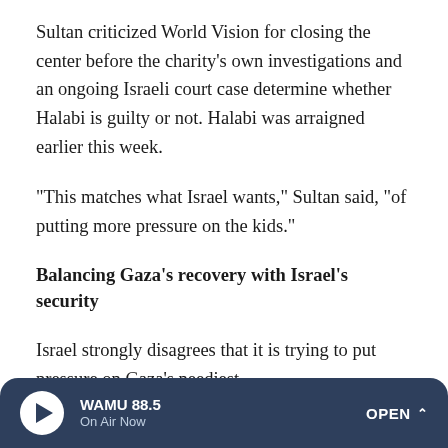Sultan criticized World Vision for closing the center before the charity's own investigations and an ongoing Israeli court case determine whether Halabi is guilty or not. Halabi was arraigned earlier this week.
"This matches what Israel wants," Sultan said, "of putting more pressure on the kids."
Balancing Gaza's recovery with Israel's security
Israel strongly disagrees that it is trying to put pressure on Gaza's neediest.
"A Gaza Strip with a Palestinian population that feels it's going somewhere is less likely to join terror groups," Dore
WAMU 88.5 On Air Now OPEN